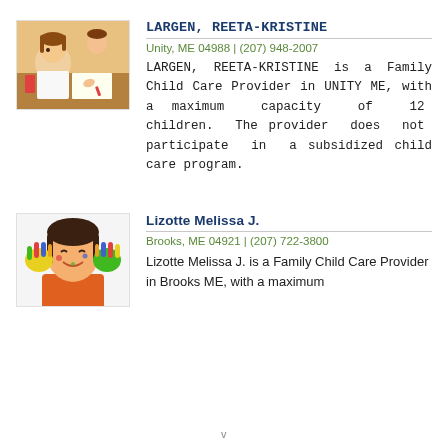[Figure (photo): Photo of children doing art/craft activities, a girl drawing at a table with colorful supplies]
LARGEN, REETA-KRISTINE
Unity, ME 04988 | (207) 948-2007
LARGEN, REETA-KRISTINE is a Family Child Care Provider in UNITY ME, with a maximum capacity of 12 children. The provider does not participate in a subsidized child care program.
[Figure (photo): Photo of a child with painted hands held up to their face, colorful paint on hands and face, smiling]
Lizotte Melissa J.
Brooks, ME 04921 | (207) 722-3800
Lizotte Melissa J. is a Family Child Care Provider in Brooks ME, with a maximum capacity of...
v